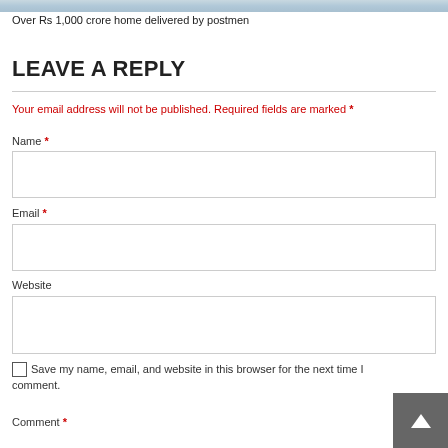[Figure (photo): Partial image strip at the top of the page]
Over Rs 1,000 crore home delivered by postmen
LEAVE A REPLY
Your email address will not be published. Required fields are marked *
Name *
Email *
Website
Save my name, email, and website in this browser for the next time I comment.
Comment *